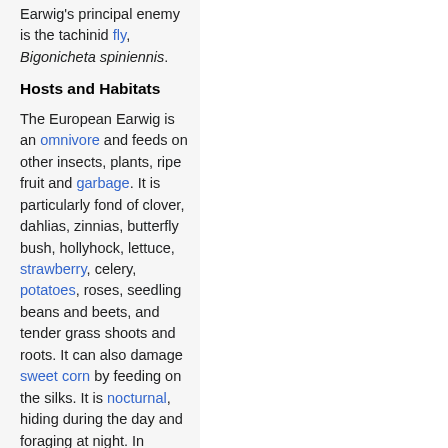Earwig's principal enemy is the tachinid fly, Bigonicheta spiniennis.
Hosts and Habitats
The European Earwig is an omnivore and feeds on other insects, plants, ripe fruit and garbage. It is particularly fond of clover, dahlias, zinnias, butterfly bush, hollyhock, lettuce, strawberry, celery, potatoes, roses, seedling beans and beets, and tender grass shoots and roots. It can also damage sweet corn by feeding on the silks. It is nocturnal, hiding during the day and foraging at night. In homes, it tends to hide in garden plants, shrubberies, along fences, in woodpiles, at the base of trees and bushes.